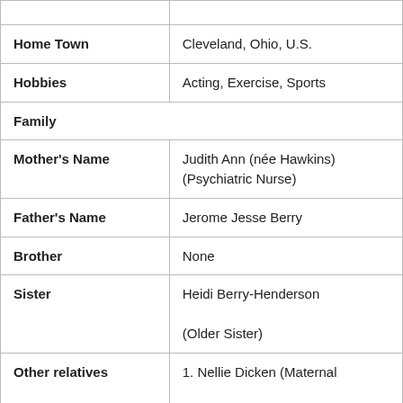| Field | Value |
| --- | --- |
|  |  |
| Home Town | Cleveland, Ohio, U.S. |
| Hobbies | Acting, Exercise, Sports |
| Family |  |
| Mother's Name | Judith Ann (née Hawkins) (Psychiatric Nurse) |
| Father's Name | Jerome Jesse Berry |
| Brother | None |
| Sister | Heidi Berry-Henderson (Older Sister) |
| Other relatives | 1. Nellie Dicken (Maternal Grandmother) |
|  | 2. Earl Ellsworth Hawkins (Maternal Grandfather) |
|  |  |